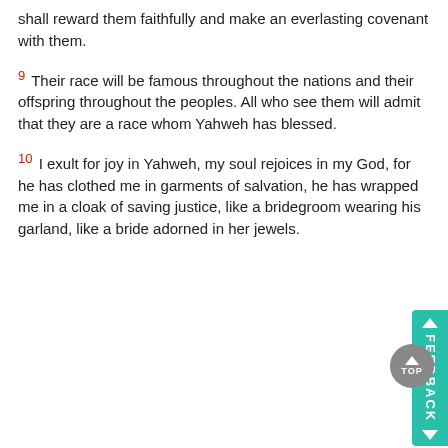shall reward them faithfully and make an everlasting covenant with them.
9 Their race will be famous throughout the nations and their offspring throughout the peoples. All who see them will admit that they are a race whom Yahweh has blessed.
10 I exult for joy in Yahweh, my soul rejoices in my God, for he has clothed me in garments of salvation, he has wrapped me in a cloak of saving justice, like a bridegroom wearing his garland, like a bride adorned in her jewels.